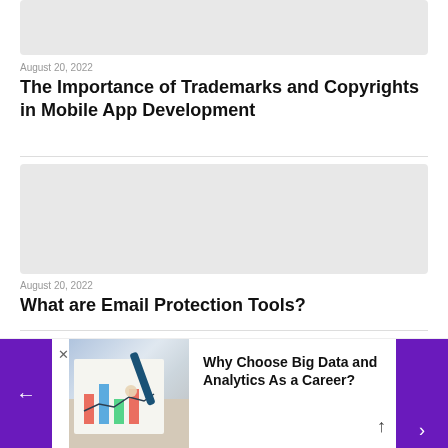[Figure (photo): Light gray placeholder image for article thumbnail]
August 20, 2022
The Importance of Trademarks and Copyrights in Mobile App Development
[Figure (photo): Light gray placeholder image for second article thumbnail]
August 20, 2022
What are Email Protection Tools?
[Figure (infographic): Bottom banner showing a hand pointing at charts/analytics with text: Why Choose Big Data and Analytics As a Career? Purple left arrow and purple right side panel with up arrow.]